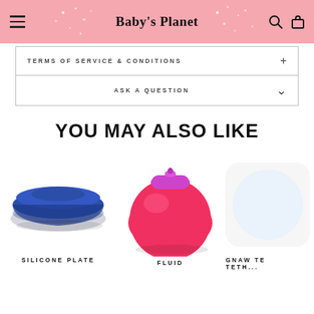Baby's Planet
TERMS OF SERVICE & CONDITIONS
ASK A QUESTION
YOU MAY ALSO LIKE
[Figure (photo): Blue silicone plate product photo]
SILICONE PLATE
[Figure (photo): Pink and purple fluid sippy cup product photo]
FLUID
[Figure (photo): Gnaw teether product photo, partially visible]
GNAW TE...